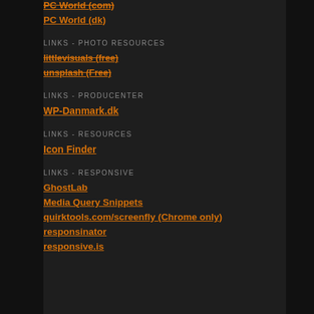PC World (com)
PC World (dk)
LINKS - PHOTO RESOURCES
littlevisuals (free)
unsplash (Free)
LINKS - PRODUCENTER
WP-Danmark.dk
LINKS - RESOURCES
Icon Finder
LINKS - RESPONSIVE
GhostLab
Media Query Snippets
quirktools.com/screenfly (Chrome only)
responsinator
responsive.is